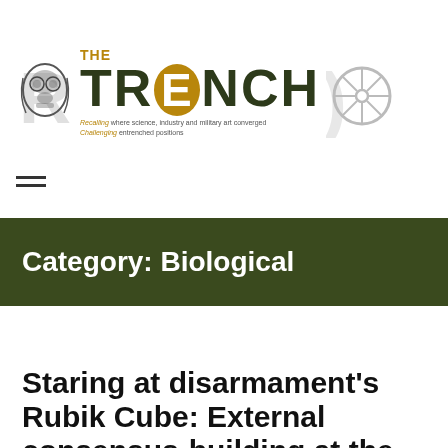[Figure (logo): The Trench website header logo with gas mask illustration on left, large bold 'THE TRENCH' text in center with N in gold circle, cannon wheel illustration on right, tagline: 'Recalling where science, industry and military art converged / Challenging entrenched positions']
Category: Biological
Biological
Staring at disarmament's Rubik Cube: External consensus-building at the 9th BTWC Review